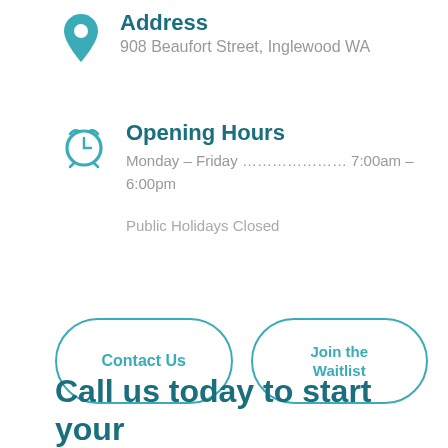Address
908 Beaufort Street, Inglewood WA
Opening Hours
Monday – Friday ………………… 7:00am – 6:00pm
Public Holidays Closed
Contact Us
Join the Waitlist
Call us today to start your